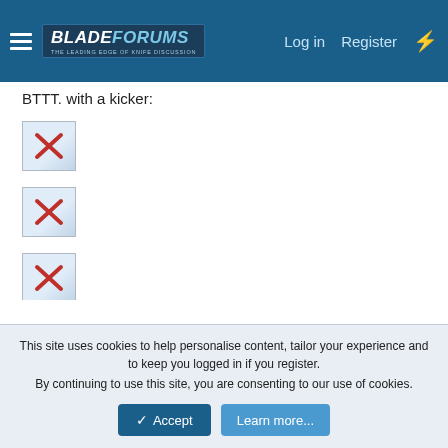BladeForums - Log in | Register
BTTT. with a kicker:
[Figure (illustration): Broken image icon placeholder 1 - small thumbnail with red X]
[Figure (illustration): Broken image icon placeholder 2 - small thumbnail with red X]
[Figure (illustration): Broken image icon placeholder 3 - small thumbnail with red X]
http://www.albionarmorers.com/swords/graham/seax.htm
Keith
This site uses cookies to help personalise content, tailor your experience and to keep you logged in if you register.
By continuing to use this site, you are consenting to our use of cookies.